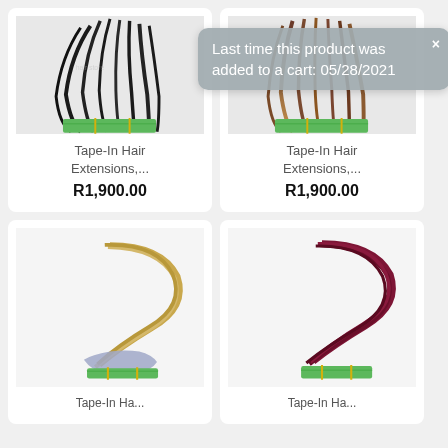[Figure (photo): Black Tape-In Hair Extensions bundle with green tape, product card top-left]
Tape-In Hair Extensions,...
R1,900.00
[Figure (screenshot): Tooltip overlay reading: Last time this product was added to a cart: 05/28/2021]
[Figure (photo): Ombre brown Tape-In Hair Extensions bundle with green tape, product card top-right]
Tape-In Hair Extensions,...
R1,900.00
[Figure (photo): Blonde Tape-In Hair Extensions bundle with blue/green tape, product card bottom-left]
Tape-In Ha...
[Figure (photo): Burgundy/dark red Tape-In Hair Extensions bundle with green tape, product card bottom-right]
Tape-In Ha...